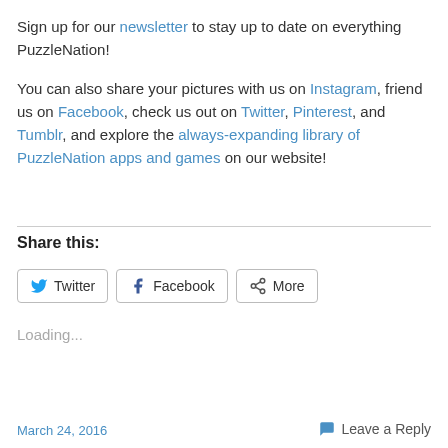Sign up for our newsletter to stay up to date on everything PuzzleNation!
You can also share your pictures with us on Instagram, friend us on Facebook, check us out on Twitter, Pinterest, and Tumblr, and explore the always-expanding library of PuzzleNation apps and games on our website!
Share this:
[Figure (other): Social share buttons: Twitter, Facebook, More]
Loading...
March 24, 2016   Leave a Reply